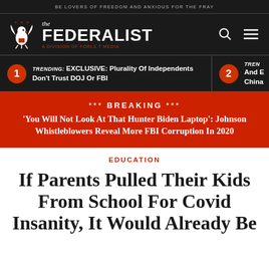BE LOVERS OF FREEDOM AND ANXIOUS FOR THE FRAY
[Figure (logo): The Federalist logo — eagle emblem with 'the FEDERALIST A DIVISION OF FORLS T MEDIA']
TRENDING: EXCLUSIVE: Plurality Of Independents Don't Trust DOJ Or FBI
TREN [DING:] And E[...] China[...]
*** BREAKING *** 'You Will Not Look At That Hunter Biden Laptop': Johnson Whistleblowers Reveal More FBI Corruption In 2020
EDUCATION
If Parents Pulled Their Kids From School For Covid Insanity, It Would Already Be